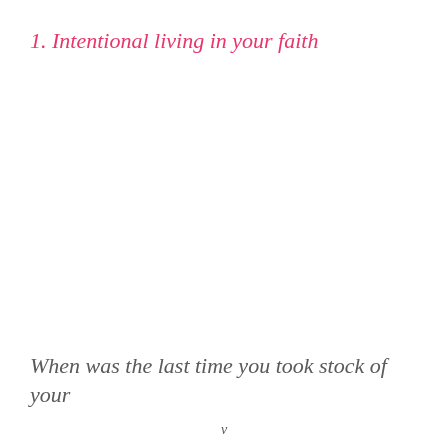1. Intentional living in your faith
When was the last time you took stock of your
v